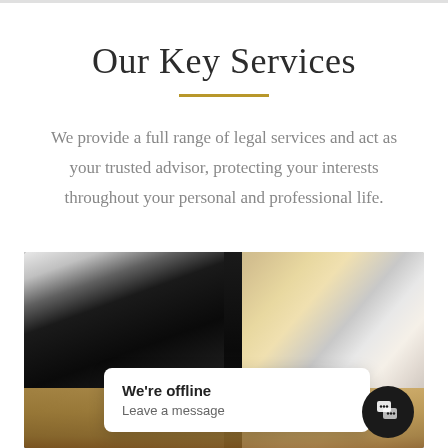Our Key Services
We provide a full range of legal services and act as your trusted advisor, protecting your interests throughout your personal and professional life.
[Figure (photo): Office scene with laptop on left side and a person holding a pen on the right side at a wooden desk, with a vertical dark divider in the middle and bright background. A chat popup overlay shows 'We're offline / Leave a message' with a dark circular chat icon button.]